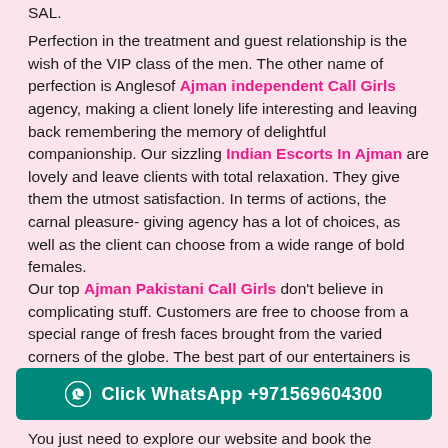SAL.
Perfection in the treatment and guest relationship is the wish of the VIP class of the men. The other name of perfection is Anglesof Ajman independent Call Girls agency, making a client lonely life interesting and leaving back remembering the memory of delightful companionship. Our sizzling Indian Escorts In Ajman are lovely and leave clients with total relaxation. They give them the utmost satisfaction. In terms of actions, the carnal pleasure- giving agency has a lot of choices, as well as the client can choose from a wide range of bold females.
Our top Ajman Pakistani Call Girls don't believe in complicating stuff. Customers are free to choose from a special range of fresh faces brought from the varied corners of the globe. The best part of our entertainers is that all our call girls are available to serve customer son their lovemaking...
You just need to explore our website and book the
Click WhatsApp +971569604300